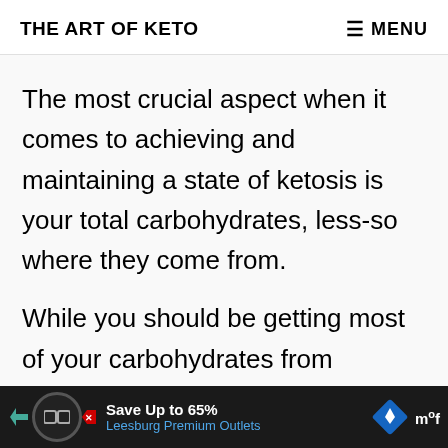THE ART OF KETO  ≡ MENU
The most crucial aspect when it comes to achieving and maintaining a state of ketosis is your total carbohydrates, less-so where they come from.
While you should be getting most of your carbohydrates from nutrient-dense s…
[Figure (screenshot): Advertisement bar: Save Up to 65% Leesburg Premium Outlets]